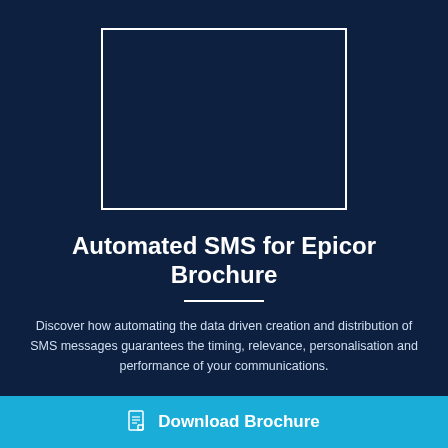[Figure (other): Rectangular white-bordered frame on dark navy background, representing a placeholder image or screenshot area]
Automated SMS for Epicor Brochure
Discover how automating the data driven creation and distribution of SMS messages guarantees the timing, relevance, personalisation and performance of your communications.
Download Brochure